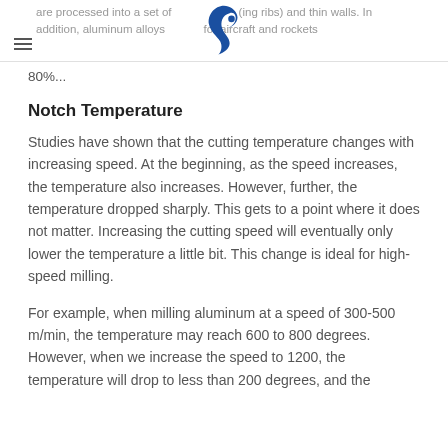are processed into a set of … (including ribs) and thin walls. In addition, aluminum alloys … for aircraft and rockets 80%...
80%...
Notch Temperature
Studies have shown that the cutting temperature changes with increasing speed. At the beginning, as the speed increases, the temperature also increases. However, further, the temperature dropped sharply. This gets to a point where it does not matter. Increasing the cutting speed will eventually only lower the temperature a little bit. This change is ideal for high-speed milling.
For example, when milling aluminum at a speed of 300-500 m/min, the temperature may reach 600 to 800 degrees. However, when we increase the speed to 1200, the temperature will drop to less than 200 degrees, and the